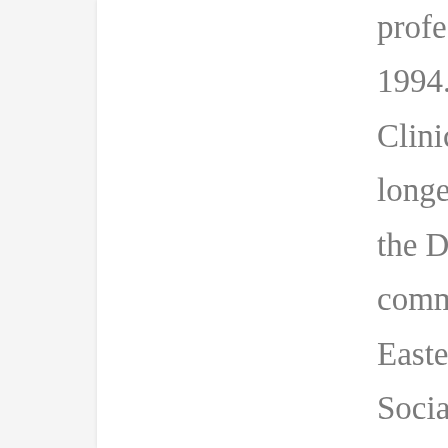professional and social worker since 1994. I started blogging in 2005 as the Clinical Director at Dawn Farm. I no longer work at Dawn Farm and am now the Director of Behavioral Medicine at a community hospital, and a lecturer at Eastern Michigan University's School of Social Work. Views expressed here are my own. Keep in mind that the field, the contexts in which the field operates, and my views have changed over time.
View all posts by Jason